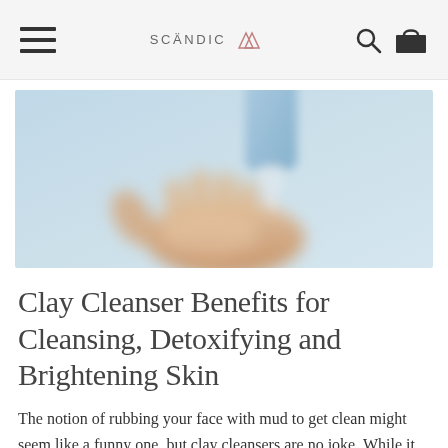SCÄNDIC [logo]
[Figure (photo): Blurred photograph of a hand with palm open upward beneath a dispenser bottle releasing product, against a light blue background.]
Clay Cleanser Benefits for Cleansing, Detoxifying and Brightening Skin
The notion of rubbing your face with mud to get clean might seem like a funny one, but clay cleansers are no joke. While it may seem